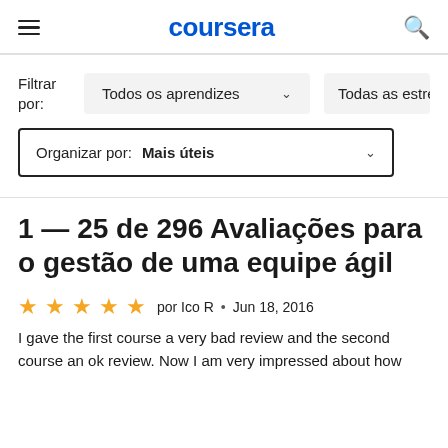coursera
Filtrar por:
Todos os aprendizes
Todas as estre
Organizar por: Mais úteis
1 — 25 de 296 Avaliações para o gestão de uma equipe ágil
por Ico R · Jun 18, 2016
I gave the first course a very bad review and the second course an ok review. Now I am very impressed about how